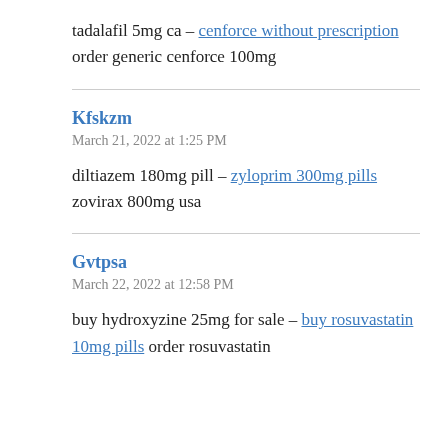tadalafil 5mg ca – cenforce without prescription order generic cenforce 100mg
Kfskzm
March 21, 2022 at 1:25 PM
diltiazem 180mg pill – zyloprim 300mg pills zovirax 800mg usa
Gvtpsa
March 22, 2022 at 12:58 PM
buy hydroxyzine 25mg for sale – buy rosuvastatin 10mg pills order rosuvastatin